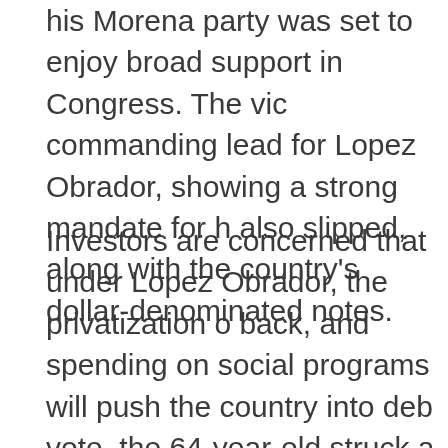his Morena party was set to enjoy broad support in Congress. The vic commanding lead for Lopez Obrador, showing a strong mandate for h also slipped, along with the country's dollar-denominated notes.
Investors are concerned that under Lopez Obrador, the privatization o back, and spending on social programs will push the country into deb vote, the 64-year-old struck a unifying tone while saying that his gove poor. The peso's drop in the second quarter was the biggest since 20